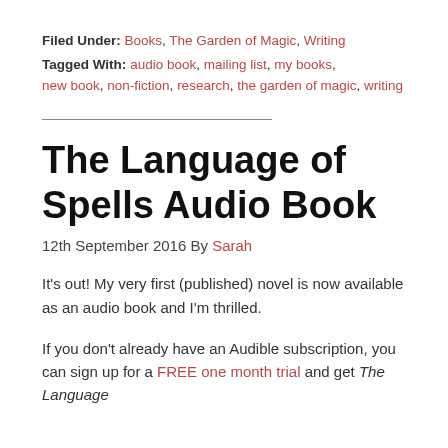Filed Under: Books, The Garden of Magic, Writing
Tagged With: audio book, mailing list, my books, new book, non-fiction, research, the garden of magic, writing
The Language of Spells Audio Book
12th September 2016 By Sarah
It's out! My very first (published) novel is now available as an audio book and I'm thrilled.
If you don't already have an Audible subscription, you can sign up for a FREE one month trial and get The Language